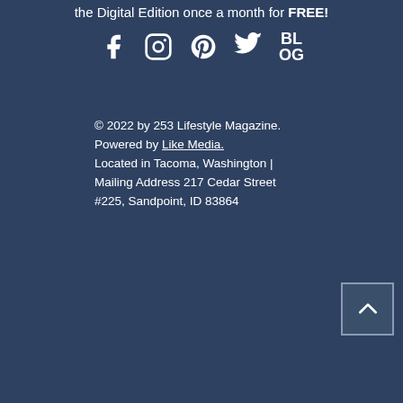the Digital Edition once a month for FREE!
[Figure (illustration): Social media icons: Facebook, Instagram, Pinterest, Twitter, and Blog]
© 2022 by 253 Lifestyle Magazine. Powered by Like Media. Located in Tacoma, Washington | Mailing Address 217 Cedar Street #225, Sandpoint, ID 83864
[Figure (illustration): Back to top button with upward chevron arrow]